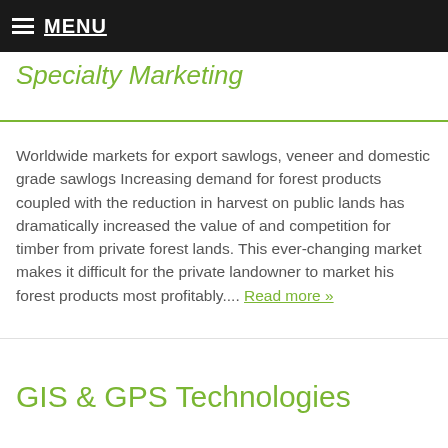MENU
Specialty Marketing
Worldwide markets for export sawlogs, veneer and domestic grade sawlogs Increasing demand for forest products coupled with the reduction in harvest on public lands has dramatically increased the value of and competition for timber from private forest lands. This ever-changing market makes it difficult for the private landowner to market his forest products most profitably.... Read more »
GIS & GPS Technologies